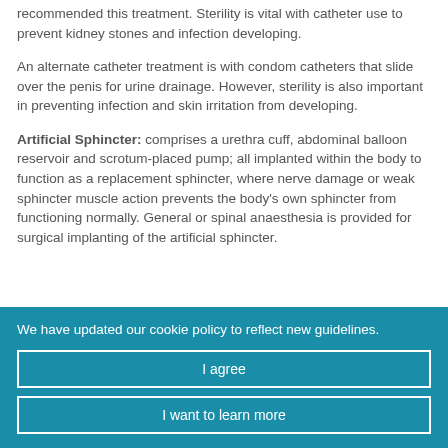recommended this treatment. Sterility is vital with catheter use to prevent kidney stones and infection developing.
An alternate catheter treatment is with condom catheters that slide over the penis for urine drainage. However, sterility is also important in preventing infection and skin irritation from developing.
Artificial Sphincter: comprises a urethra cuff, abdominal balloon reservoir and scrotum-placed pump; all implanted within the body to function as a replacement sphincter, where nerve damage or weak sphincter muscle action prevents the body's own sphincter from functioning normally. General or spinal anaesthesia is provided for surgical implanting of the artificial sphincter.
We have updated our cookie policy to reflect new guidelines.
I agree
I want to learn more